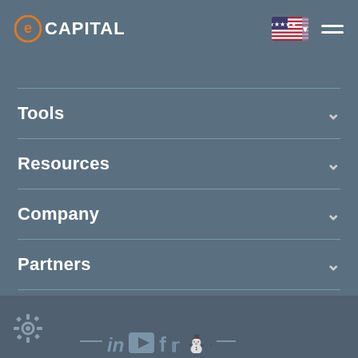eCapital
Tools
Resources
Company
Partners
Clients
Social media icons: LinkedIn, YouTube, Facebook, Twitter, other